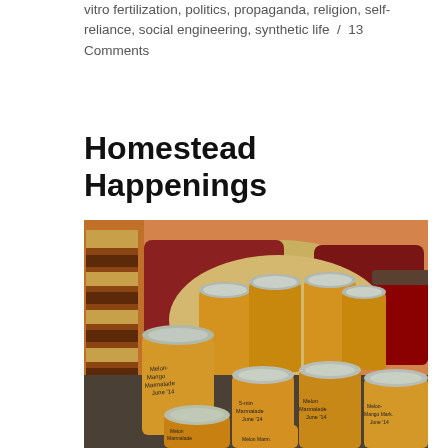vitro fertilization, politics, propaganda, religion, self-reliance, social engineering, synthetic life  /  13 Comments
Homestead Happenings
[Figure (photo): Multiple mason jars of homemade marmalade with handwritten labels, arranged on a surface with decorative pillows in the background. Labels appear to read variations of 'Melon-Mango Marmalade' and 'Melon Marmalade' with dates like 'June '14'.]